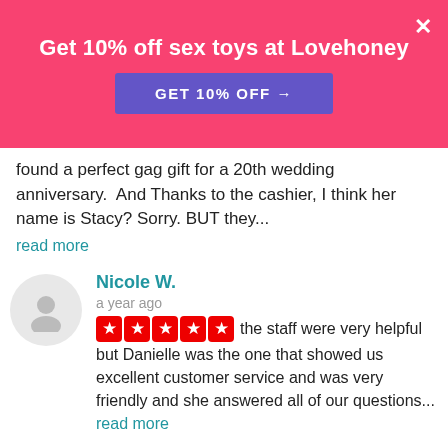[Figure (infographic): Pink promotional ad banner: 'Get 10% off sex toys at Lovehoney' with a purple 'GET 10% OFF →' button and white X close button]
found a perfect gag gift for a 20th wedding anniversary.  And Thanks to the cashier, I think her name is Stacy? Sorry. BUT they...
read more
Nicole W.
a year ago
★★★★★ the staff were very helpful but Danielle was the one that showed us excellent customer service and was very friendly and she answered all of our questions... read more
Bri H.
a year ago
★☆☆☆☆ If I could rate a ZERO I would! We rang the door bell once and waited patiently. Then rang another time